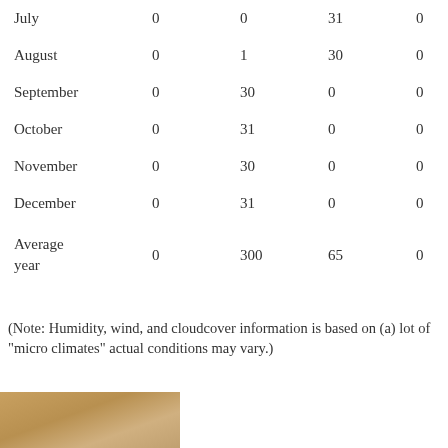| Month | Col2 | Col3 | Col4 | Col5 |
| --- | --- | --- | --- | --- |
| July | 0 | 0 | 31 | 0 |
| August | 0 | 1 | 30 | 0 |
| September | 0 | 30 | 0 | 0 |
| October | 0 | 31 | 0 | 0 |
| November | 0 | 30 | 0 | 0 |
| December | 0 | 31 | 0 | 0 |
| Average year | 0 | 300 | 65 | 0 |
(Note: Humidity, wind, and cloudcover information is based on (a) lot of "micro climates" actual conditions may vary.)
[Figure (photo): Partial photo visible at bottom of page, appears to show a landscape or nature scene with warm tones.]